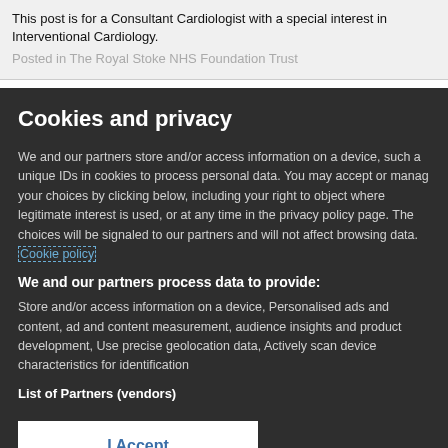This post is for a Consultant Cardiologist with a special interest in Interventional Cardiology.
Posted in The Royal Stoke NHS Foundation Trust
Cookies and privacy
We and our partners store and/or access information on a device, such as unique IDs in cookies to process personal data. You may accept or manage your choices by clicking below, including your right to object where legitimate interest is used, or at any time in the privacy policy page. These choices will be signaled to our partners and will not affect browsing data. Cookie policy
We and our partners process data to provide:
Store and/or access information on a device, Personalised ads and content, ad and content measurement, audience insights and product development, Use precise geolocation data, Actively scan device characteristics for identification
List of Partners (vendors)
I Accept